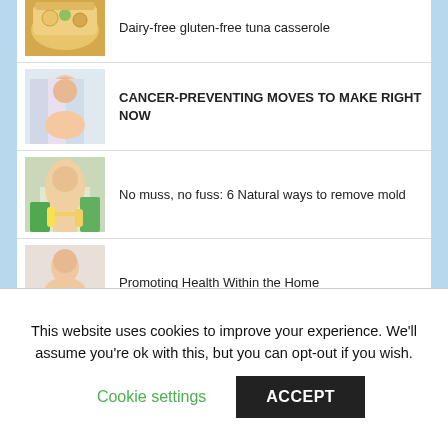Dairy-free gluten-free tuna casserole
CANCER-PREVENTING MOVES TO MAKE RIGHT NOW
No muss, no fuss: 6 Natural ways to remove mold
Promoting Health Within the Home
12 Delicious Snacks for Flat Abs
This website uses cookies to improve your experience. We'll assume you're ok with this, but you can opt-out if you wish.
Cookie settings
ACCEPT